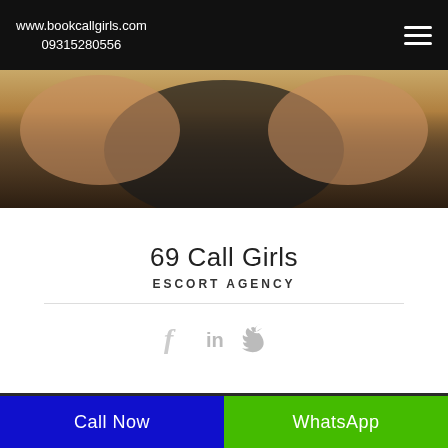www.bookcallgirls.com
09315280556
[Figure (photo): Cropped photo of a person in dark clothing, upper body visible against a blurred background]
69 Call Girls
ESCORT AGENCY
[Figure (illustration): Social media icons: Facebook (f), LinkedIn (in), Twitter (bird icon) in light grey]
[Figure (photo): Cropped photo showing face of a woman with brown hair looking at camera]
Call Now
WhatsApp